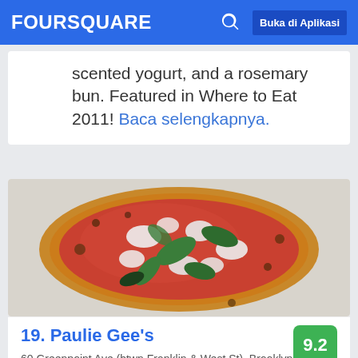FOURSQUARE  Buka di Aplikasi
scented yogurt, and a rosemary bun. Featured in Where to Eat 2011! Baca selengkapnya.
[Figure (photo): A Margherita pizza with tomato sauce, fresh mozzarella, and basil leaves, shot from above on a light background.]
19. Paulie Gee's
60 Greenpoint Ave (btwn Franklin & West St), Brooklyn, NY
Tempat Pizza · Greenpoint · 401 tips dan ulasan